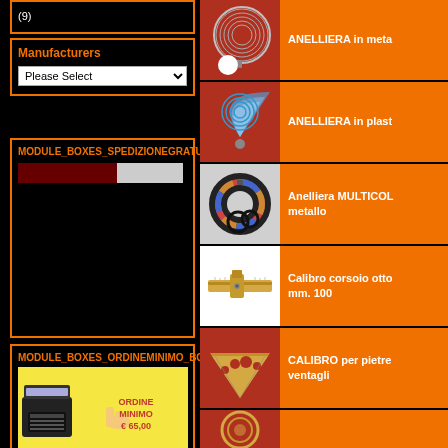(9)
Manufacturers
Please Select
MODULE_BOXES_SPEDIZIONEGRATUTA_BOX_TITLE
MODULE_BOXES_ORDINEMINIMO_BOX_TITLE
[Figure (illustration): Image of ORDINE MINIMO € 65,00 with cash register and hand pointing]
ANELLIERA in meta
[Figure (photo): Metal ring sizer gauge on red background]
ANELLIERA in plast
[Figure (photo): Plastic ring sizer gauge on red background]
Anelliera MULTICOLORE metallo
[Figure (photo): Multicolor metal ring sizer on white background]
Calibro corsoio otto mm. 100
[Figure (photo): Brass sliding caliper on white background]
CALIBRO per pietre ventagli
[Figure (photo): Metal stone gauge fan on red background]
[Figure (photo): Partial view of round metal gauge on red background]